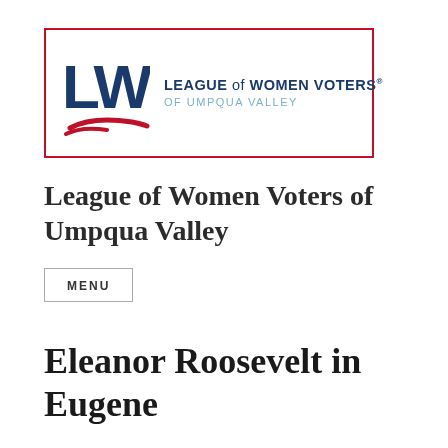[Figure (logo): League of Women Voters of Umpqua Valley logo — blue bold LWV letters with red swoosh, text LEAGUE OF WOMEN VOTERS OF UMPQUA VALLEY, all inside a red rectangular border]
League of Women Voters of Umpqua Valley
MENU
Eleanor Roosevelt in Eugene